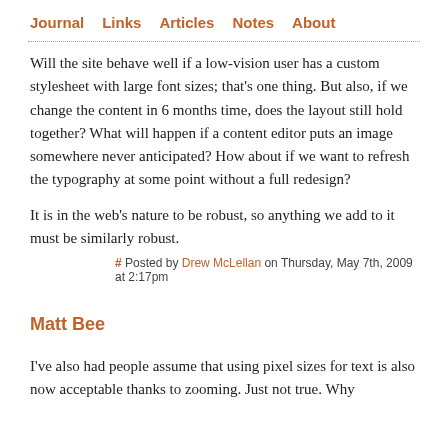Journal  Links  Articles  Notes  About
Will the site behave well if a low-vision user has a custom stylesheet with large font sizes; that's one thing. But also, if we change the content in 6 months time, does the layout still hold together? What will happen if a content editor puts an image somewhere never anticipated? How about if we want to refresh the typography at some point without a full redesign?
It is in the web's nature to be robust, so anything we add to it must be similarly robust.
# Posted by Drew McLellan on Thursday, May 7th, 2009 at 2:17pm
Matt Bee
I've also had people assume that using pixel sizes for text is also now acceptable thanks to zooming. Just not true. Why